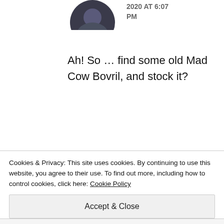[Figure (photo): Partially visible circular avatar photo at top center, dark toned image cropped at bottom]
2020 AT 6:07 PM
Ah! So ... find some old Mad Cow Bovril, and stock it?
★ Liked by 1 person
[Figure (photo): Partially visible circular avatar photo, bronze/orange toned, partially cut off at bottom]
House of Heart
Cookies & Privacy: This site uses cookies. By continuing to use this website, you agree to their use. To find out more, including how to control cookies, click here: Cookie Policy
Accept & Close